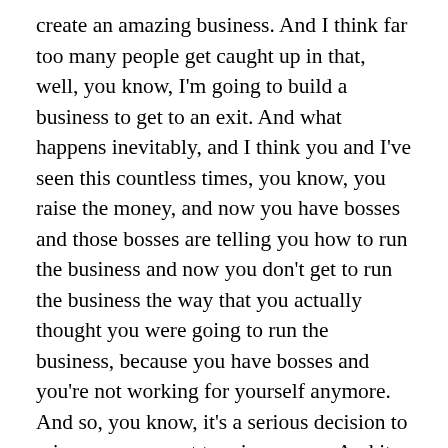create an amazing business. And I think far too many people get caught up in that, well, you know, I'm going to build a business to get to an exit. And what happens inevitably, and I think you and I've seen this countless times, you know, you raise the money, and now you have bosses and those bosses are telling you how to run the business and now you don't get to run the business the way that you actually thought you were going to run the business, because you have bosses and you're not working for yourself anymore. And so, you know, it's a serious decision to raise money or not to raise money. And it can be significantly helpful, but I want to press upon anybody who's thinking about it to just recognize that it's not something to take lightly. You know, not only are you raising money from people who now, you know, you don't want to lose anyone's money, but also just in terms of mindset, you know,